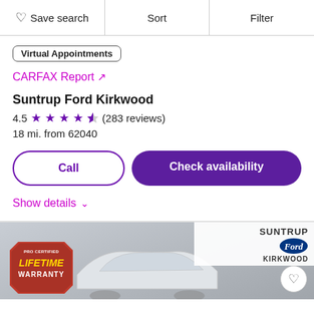Save search | Sort | Filter
Virtual Appointments
CARFAX Report ↗
Suntrup Ford Kirkwood
4.5 ★★★★½ (283 reviews)
18 mi. from 62040
Call | Check availability
Show details ∨
[Figure (photo): Bottom strip showing Pro Certified Lifetime Warranty badge on left, car roof visible in center, Suntrup Ford Kirkwood dealer logo on right with heart/save icon]